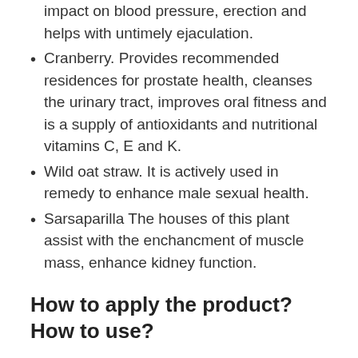impact on blood pressure, erection and helps with untimely ejaculation.
Cranberry. Provides recommended residences for prostate health, cleanses the urinary tract, improves oral fitness and is a supply of antioxidants and nutritional vitamins C, E and K.
Wild oat straw. It is actively used in remedy to enhance male sexual health.
Sarsaparilla The houses of this plant assist with the enchancment of muscle mass, enhance kidney function.
How to apply the product? How to use?
Semenax is taken as a tablet twice a day with meals with plenty of water. No more than four tablets per day.